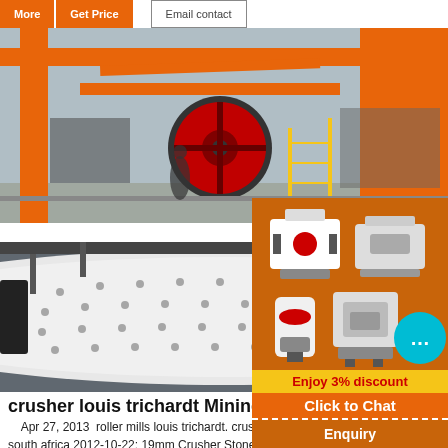More   Get Price   Email contact
[Figure (photo): Large orange industrial mining machinery at a quarry/processing site, showing conveyor structures, a large red flywheel, yellow safety fencing, and orange steel framework against a grey sky.]
[Figure (photo): Close-up of a large white cylindrical ball mill drum with bolted panels and studs, inside an industrial facility.]
[Figure (infographic): Orange advertisement panel on right side showing images of crushing and milling machines, a cyan chat bubble with ellipsis, 'Enjoy 3% discount' yellow bar, 'Click to Chat' orange bar, and 'Enquiry' text.]
crusher louis trichardt Mining Quarry P...
Apr 27, 2013  roller mills louis trichardt. crush... south africa 2012-10-22; 19mm Crusher Stone * C... * Quarry